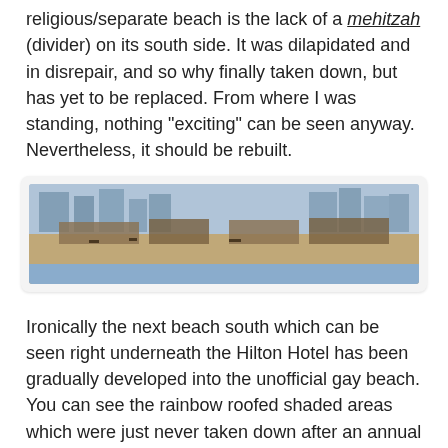religious/separate beach is the lack of a mehitzah (divider) on its south side. It was dilapidated and in disrepair, and so why finally taken down, but has yet to be replaced. From where I was standing, nothing "exciting" can be seen anyway. Nevertheless, it should be rebuilt.
[Figure (photo): A beach scene showing structures along the shoreline with buildings visible in the background. Wide panoramic view.]
Ironically the next beach south which can be seen right underneath the Hilton Hotel has been gradually developed into the unofficial gay beach. You can see the rainbow roofed shaded areas which were just never taken down after an annual celebration.
[Figure (photo): A beach area with Israeli flags on poles and rainbow-colored shaded structures visible, with blue sky background.]